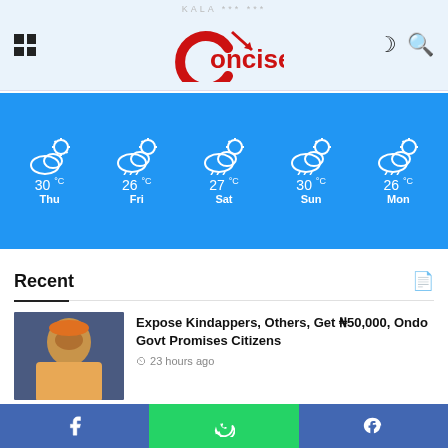Concise - news website header with logo
[Figure (infographic): 5-day weather forecast widget on blue background: Thu 30°C, Fri 26°C, Sat 27°C, Sun 30°C, Mon 26°C, all showing partly cloudy icons]
Recent
Expose Kindappers, Others, Get ₦50,000, Ondo Govt Promises Citizens – 23 hours ago
Kenya's Ruto Says 'No Time To Waste' After Vote Win – 23 hours ago